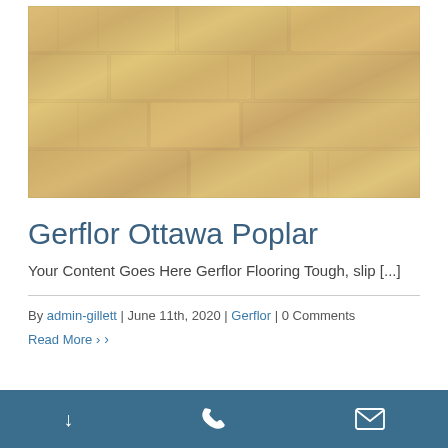[Figure (photo): Wood flooring texture — light tan/beige hardwood planks with natural grain pattern, arranged in offset rows.]
Gerflor Ottawa Poplar
Your Content Goes Here Gerflor Flooring Tough, slip [...]
By admin-gillett | June 11th, 2020 | Gerflor | 0 Comments
Read More ›
↓  📞  ✉